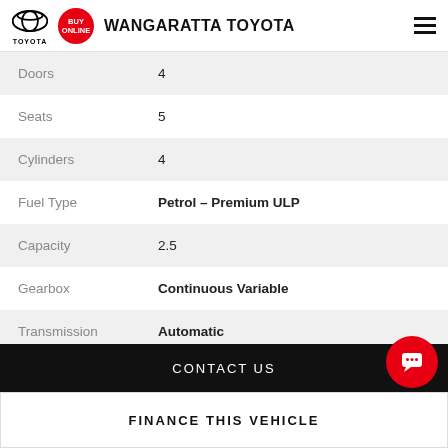WANGARATTA TOYOTA
| Attribute | Value |
| --- | --- |
| Doors | 4 |
| Seats | 5 |
| Cylinders | 4 |
| Fuel Type | Petrol – Premium ULP |
| Capacity | 2.5 |
| Gearbox | Continuous Variable |
| Transmission | Automatic |
| Odometer | 219,436 kms |
CONTACT US
FINANCE THIS VEHICLE